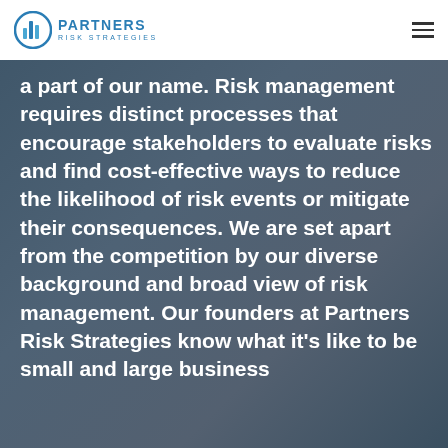Partners Risk Strategies
a part of our name. Risk management requires distinct processes that encourage stakeholders to evaluate risks and find cost-effective ways to reduce the likelihood of risk events or mitigate their consequences. We are set apart from the competition by our diverse background and broad view of risk management. Our founders at Partners Risk Strategies know what it's like to be small and large business